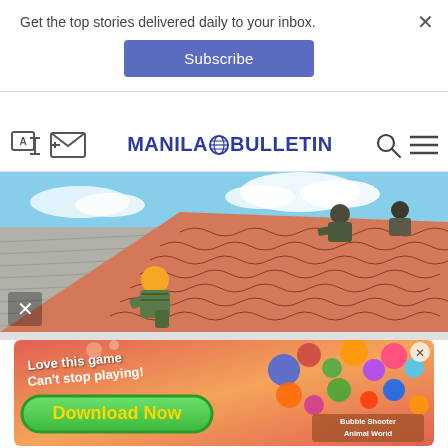Get the top stories delivered daily to your inbox.
Subscribe
[Figure (screenshot): Manila Bulletin website navigation bar with translate icon, mail icon, Manila Bulletin logo, search icon, and hamburger menu icon]
[Figure (photo): Workers in camouflage clothing and hard hats working on a tiled roof with red/pink wavy ceramic tiles and grey metal sheets, blue sky with clouds in background]
[Figure (screenshot): Mobile game advertisement with orange/red gradient background, text 'Love this game Can't stop playing!' and 'Download Now' green button, Bubble Shooter Animal World game shown]